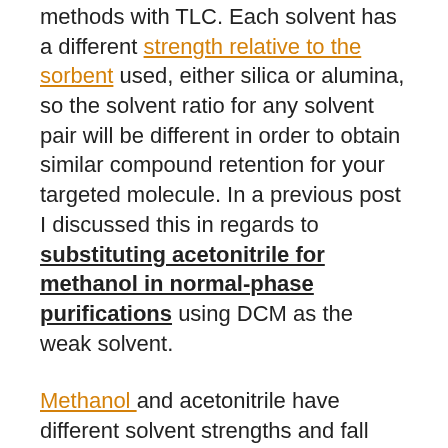methods with TLC.  Each solvent has a different strength relative to the sorbent used, either silica or alumina, so the solvent ratio for any solvent pair will be different in order to obtain similar compound retention for your targeted molecule.  In a previous post I discussed this in regards to substituting acetonitrile for methanol in normal-phase purifications using DCM as the weak solvent.
Methanol and acetonitrile have different solvent strengths and fall into different selectivity classes as well, Table 1.  If you